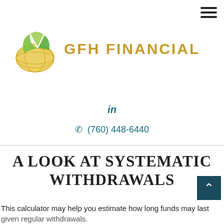[Figure (logo): GFH Financial logo with green and yellow globe/leaf icon and golden text 'GFH FINANCIAL']
in
(760) 448-6440
A LOOK AT SYSTEMATIC WITHDRAWALS
This calculator may help you estimate how long funds may last given regular withdrawals.